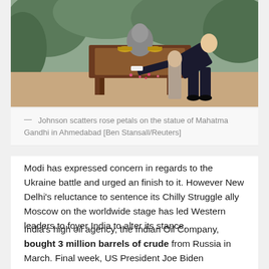[Figure (photo): A man in a dark suit bending forward to scatter rose petals at a wooden table with a bust statue, surrounded by greenery]
— Johnson scatters rose petals on the statue of Mahatma Gandhi in Ahmedabad [Ben Stansall/Reuters]
Modi has expressed concern in regards to the Ukraine battle and urged an finish to it. However New Delhi's reluctance to sentence its Chilly Struggle ally Moscow on the worldwide stage has led Western leaders to foyer India to alter its stance.
India's high oil agency, the Indian Oil Company, bought 3 million barrels of crude from Russia in March. Final week, US President Joe Biden requested Modi to not improve